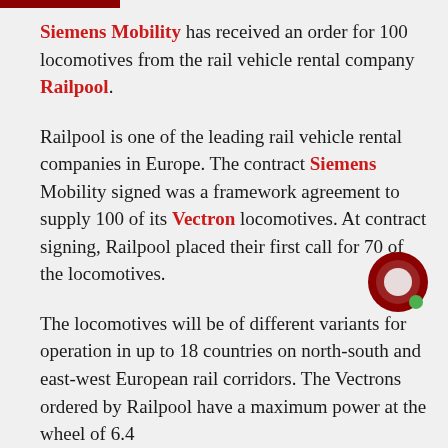Siemens Mobility has received an order for 100 locomotives from the rail vehicle rental company Railpool.
Railpool is one of the leading rail vehicle rental companies in Europe. The contract Siemens Mobility signed was a framework agreement to supply 100 of its Vectron locomotives. At contract signing, Railpool placed their first call for 70 of the locomotives.
The locomotives will be of different variants for operation in up to 18 countries on north-south and east-west European rail corridors. The Vectrons ordered by Railpool have a maximum power at the wheel of 6.4 megawatts and a top speed of 200 km/h